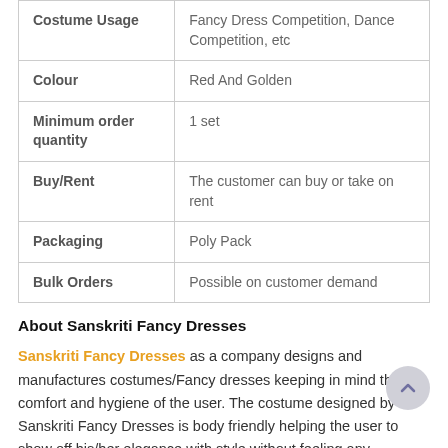| Attribute | Value |
| --- | --- |
| Costume Usage | Fancy Dress Competition, Dance Competition, etc |
| Colour | Red And Golden |
| Minimum order quantity | 1 set |
| Buy/Rent | The customer can buy or take on rent |
| Packaging | Poly Pack |
| Bulk Orders | Possible on customer demand |
About Sanskriti Fancy Dresses
Sanskriti Fancy Dresses as a company designs and manufactures costumes/Fancy dresses keeping in mind the comfort and hygiene of the user. The costume designed by Sanskriti Fancy Dresses is body friendly helping the user to show off his/her elegance with style without feeling any discomfort caused by